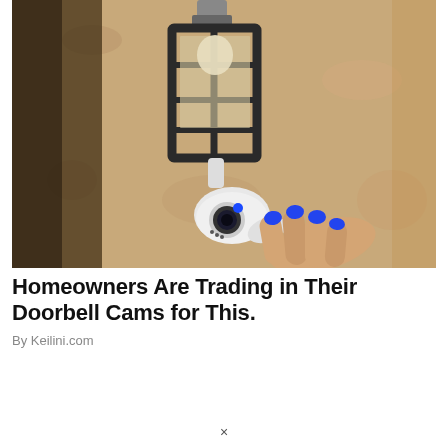[Figure (photo): A white security camera mounted beneath a black iron lantern light fixture on a sandy stone/stucco wall. A hand with blue-painted fingernails reaches toward the camera from the lower right.]
Homeowners Are Trading in Their Doorbell Cams for This.
By Keilini.com